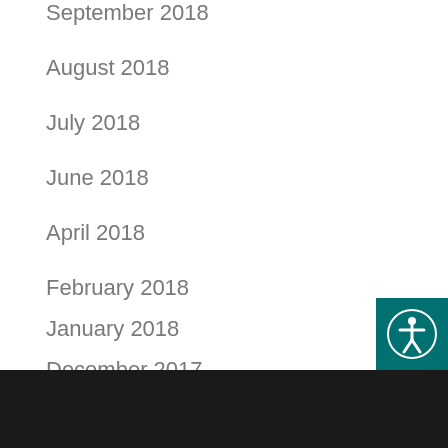September 2018
August 2018
July 2018
June 2018
April 2018
February 2018
January 2018
December 2017
November 2017
[Figure (illustration): Accessibility icon button - teal square with circular person/accessibility symbol in white]